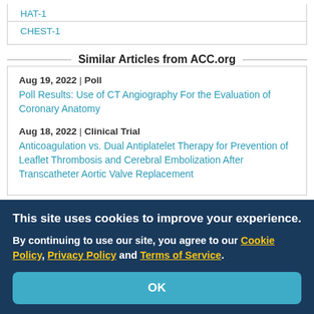HAT-1
CHEST-1
Similar Articles from ACC.org
Aug 19, 2022 | Poll
Poll Results: Use of CT Angiography For the Evaluation of Coronary Anatomy
Aug 18, 2022 | Clinical Trial
Anticoagulation vs. Dual Antiplatelet Therapy for Prevention of Leaflet Thrombosis and Cerebral Embolization After Transcatheter Aortic Valve Replacement
This site uses cookies to improve your experience.
By continuing to use our site, you agree to our Cookie Policy, Privacy Policy and Terms of Service.
OK